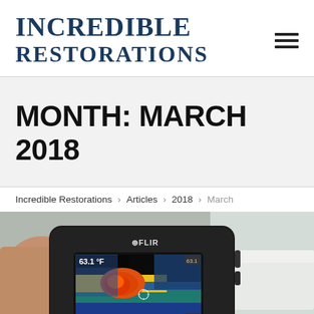[Figure (logo): Incredible Restorations logo — serif bold text in dark navy blue, two lines: 'INCREDIBLE' and 'RESTORATIONS']
MONTH: MARCH 2018
Incredible Restorations > Articles > 2018 > March
[Figure (photo): A hand holding a FLIR thermal imaging camera showing a thermal image of a surface with temperature reading of 63.1°F displayed on screen. The thermal image shows heat signatures in red/orange/yellow/blue colors indicating moisture or heat anomalies.]